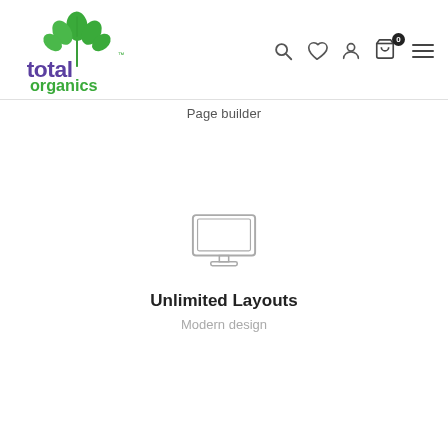[Figure (logo): Total Organics logo with green leaf plant graphic and purple 'total' text with green 'organics' text]
[Figure (illustration): Navigation icons: search (magnifier), heart/wishlist, user/account, shopping cart with badge '0', hamburger menu]
Page builder
[Figure (illustration): Monitor/screen icon outline illustration]
Unlimited Layouts
Modern design